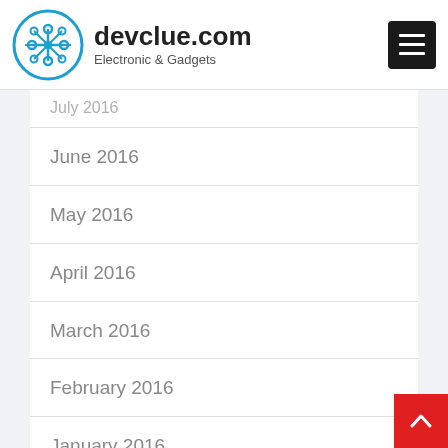devclue.com — Electronic & Gadgets
July 2016
June 2016
May 2016
April 2016
March 2016
February 2016
January 2016